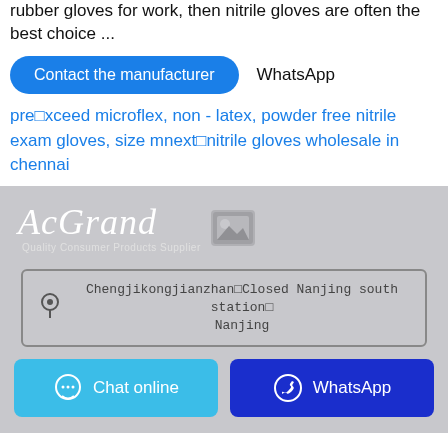rubber gloves for work, then nitrile gloves are often the best choice ...
Contact the manufacturer | WhatsApp
pre□xceed microflex, non - latex, powder free nitrile exam gloves, size mnext□nitrile gloves wholesale in chennai
[Figure (logo): AcGrand Group logo with tagline 'Quality Consumer Products Supplier' on a light grey background]
Chengjikongjianzhan□Closed Nanjing south station□ Nanjing
Chat online | WhatsApp